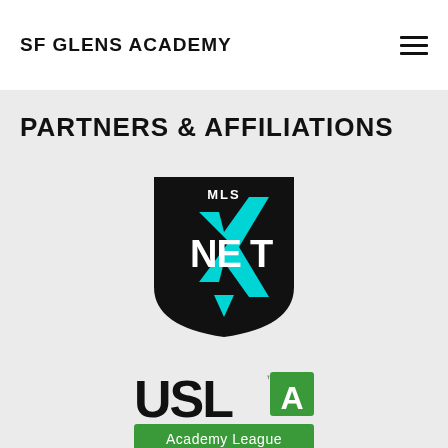SF GLENS ACADEMY
PARTNERS & AFFILIATIONS
[Figure (logo): MLS NEXT logo — black shield shape with teal/cyan 'NEXT' lettering and a lightning bolt X, 'MLS' in white at top]
[Figure (logo): USL Academy League logo — 'USL' in black bold text with a green square box containing a white 'A', and a green banner below reading 'Academy League']